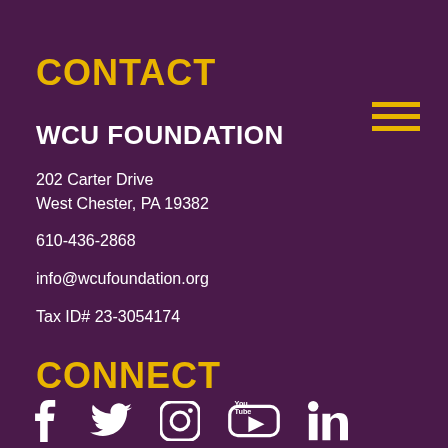CONTACT
WCU FOUNDATION
202 Carter Drive
West Chester, PA 19382
610-436-2868
info@wcufoundation.org
Tax ID# 23-3054174
CONNECT
[Figure (infographic): Social media icons: Facebook, Twitter, Instagram, YouTube, LinkedIn in white on purple background]
[Figure (infographic): Hamburger menu icon with three gold horizontal lines]